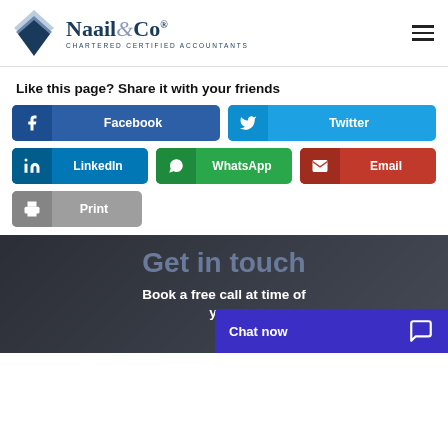Naail & Co — Chartered Certified Accountants
Like this page? Share it with your friends
[Figure (infographic): Social share buttons: Facebook, Twitter, LinkedIn, WhatsApp, Email, Print]
Get in touch
Book a free call at time of your
Chat now